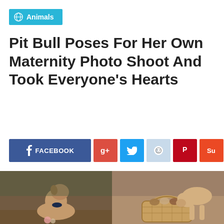Animals
Pit Bull Poses For Her Own Maternity Photo Shoot And Took Everyone's Hearts
[Figure (infographic): Social media share buttons: Facebook, Google+, Twitter, Reddit, Pinterest, StumbleUpon, Email]
[Figure (photo): Two side-by-side photos of a Pit Bull dog. Left: a tan pit bull wearing a navy bow, posed on a wooden surface with flowers, in an outdoor wooded setting. Right: a tan and white pit bull leaning over a wicker basket containing puppies outdoors.]